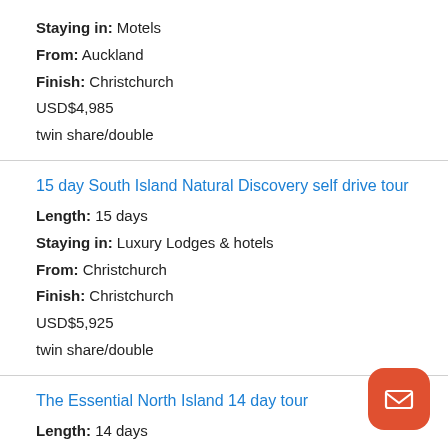Staying in: Motels
From: Auckland
Finish: Christchurch
USD$4,985
twin share/double
15 day South Island Natural Discovery self drive tour
Length: 15 days
Staying in: Luxury Lodges & hotels
From: Christchurch
Finish: Christchurch
USD$5,925
twin share/double
The Essential North Island 14 day tour
Length: 14 days
Staying in: Boutique lodges & hotels